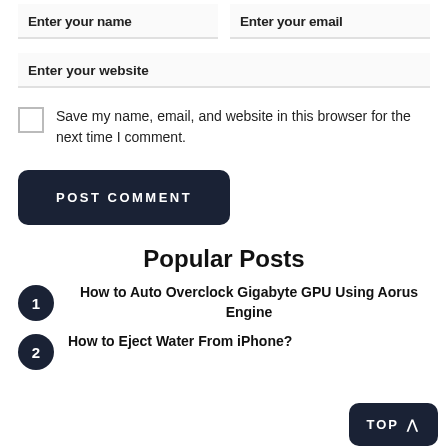Enter your name
Enter your email
Enter your website
Save my name, email, and website in this browser for the next time I comment.
POST COMMENT
Popular Posts
1 How to Auto Overclock Gigabyte GPU Using Aorus Engine
2 How to Eject Water From iPhone?
TOP